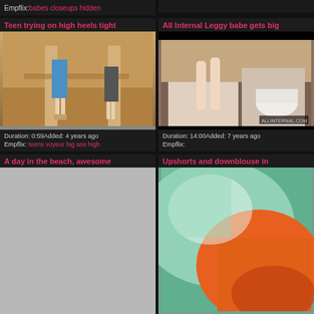Empflix: babes closeups hidden
Teen trying on high heels tight
[Figure (photo): Woman in white shorts and high heels in a shoe store]
Duration: 0:59Added: 4 years ago Empflix: teens voyeur big ass high
All Internal Leggy babe gets big
[Figure (photo): Overhead view of a bathroom scene]
Duration: 14:00Added: 7 years ago Empflix:
A day in the beach, awesome
[Figure (photo): Gray placeholder image]
Upshorts and downblouse in
[Figure (photo): Close-up of clothing with orange and teal colors]